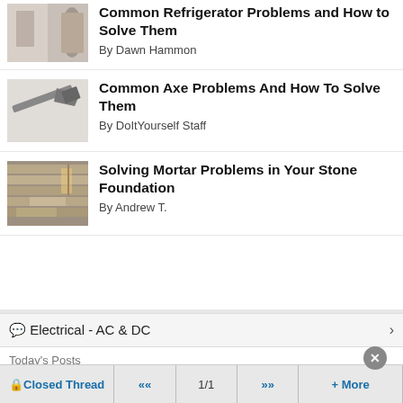[Figure (photo): Thumbnail photo of person near refrigerator]
Common Refrigerator Problems and How to Solve Them
By Dawn Hammon
[Figure (photo): Thumbnail photo of an axe/saw tool]
Common Axe Problems And How To Solve Them
By DoItYourself Staff
[Figure (photo): Thumbnail photo of mortar and stone foundation]
Solving Mortar Problems in Your Stone Foundation
By Andrew T.
💬 Electrical - AC & DC
Today's Posts
🔒Closed Thread  «  1/1  »  + More